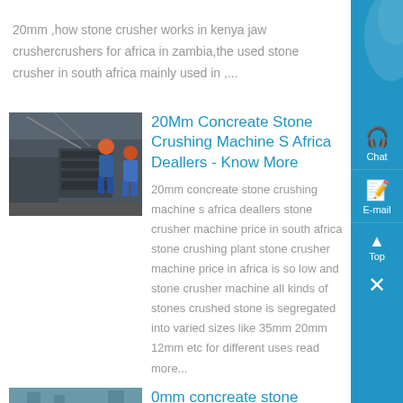20mm ,how stone crusher works in kenya jaw crushercrushers for africa in zambia,the used stone crusher in south africa mainly used in ,...
[Figure (photo): Workers in hard hats operating stone crushing machinery in an industrial facility]
20Mm Concreate Stone Crushing Machine S Africa Deallers - Know More
20mm concreate stone crushing machine s africa deallers stone crusher machine price in south africa stone crushing plant stone crusher machine price in africa is so low and stone crusher machine all kinds of stones crushed stone is segregated into varied sizes like 35mm 20mm 12mm etc for different uses read more...
[Figure (photo): Aerial or wide-angle view of a stone crushing plant facility]
20mm concreate stone